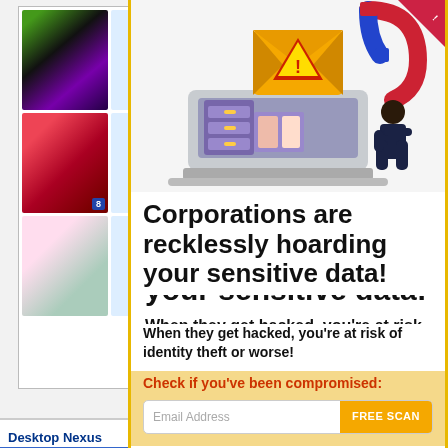[Figure (screenshot): Background website (Desktop Nexus wallpaper site) showing a grid of wallpaper thumbnails with robot mascots, partially obscured by a popup overlay. Left side shows image grid with colorful photos and blue robot characters with badges numbered 8 and 25. Bottom left shows a navigation section with 'Desktop Nexus' header and links: Home, About Us, Popular Wallpapers, Popular Tags, Community Stats, Member List, Contact Us. A Privacy Policy line and 'Page rendered with' text appear at the bottom.]
[Figure (illustration): Popup overlay illustration showing a laptop with an envelope containing a warning triangle/exclamation mark, a filing cabinet, and a person pulling documents with a magnet. Red corner ribbon in top-right corner.]
Corporations are recklessly hoarding your sensitive data!
When they get hacked, you’re at risk of identity theft or worse!
Check if you've been compromised:
Email Address
FREE SCAN